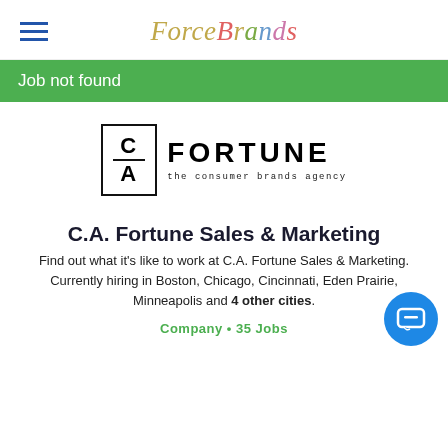ForceBrands
Job not found
[Figure (logo): C.A. Fortune - the consumer brands agency logo with boxed CA letters and FORTUNE text]
C.A. Fortune Sales & Marketing
Find out what it's like to work at C.A. Fortune Sales & Marketing. Currently hiring in Boston, Chicago, Cincinnati, Eden Prairie, Minneapolis and 4 other cities.
Company • 35 Jobs